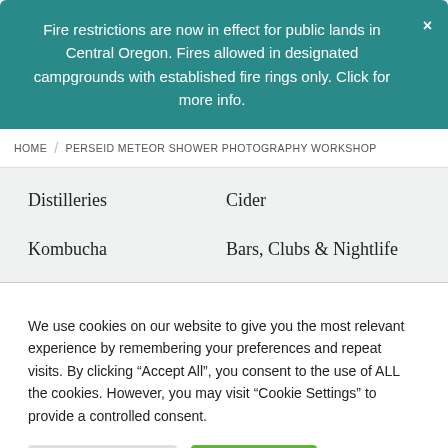Fire restrictions are now in effect for public lands in Central Oregon. Fires allowed in designated campgrounds with established fire rings only. Click for more info.
HOME / PERSEID METEOR SHOWER PHOTOGRAPHY WORKSHOP
Distilleries
Cider
Kombucha
Bars, Clubs & Nightlife
We use cookies on our website to give you the most relevant experience by remembering your preferences and repeat visits. By clicking "Accept All", you consent to the use of ALL the cookies. However, you may visit "Cookie Settings" to provide a controlled consent.